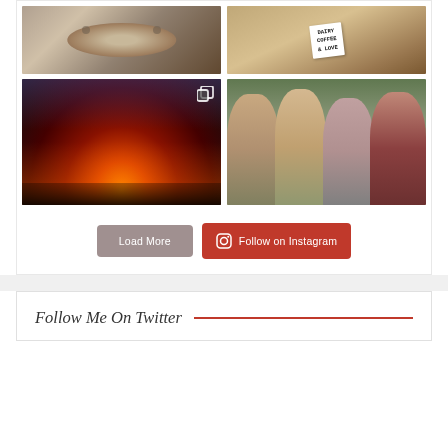[Figure (photo): Instagram photo grid with four images: top-left is a cat curled up, top-right is a sign reading DAIRY COFFEE & LOVE, bottom-left is a concert venue with colorful stage lights and crowd, bottom-right is four women smiling at a concert.]
[Figure (infographic): Two buttons: 'Load More' in gray and 'Follow on Instagram' in red with Instagram icon]
Follow Me On Twitter